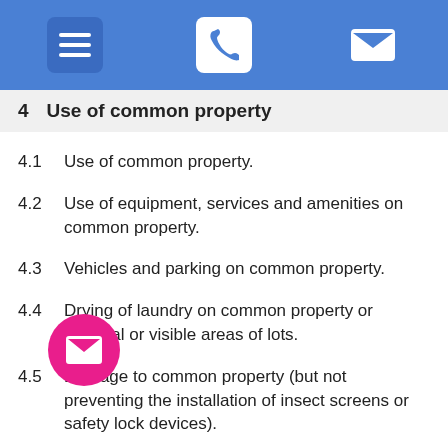Navigation header with menu, phone, and mail icons
4    Use of common property
4.1    Use of common property.
4.2    Use of equipment, services and amenities on common property.
4.3    Vehicles and parking on common property.
4.4    Drying of laundry on common property or external or visible areas of lots.
4.5    Damage to common property (but not preventing the installation of insect screens or safety lock devices).
4.6    Deposit of rubbish and other material on common